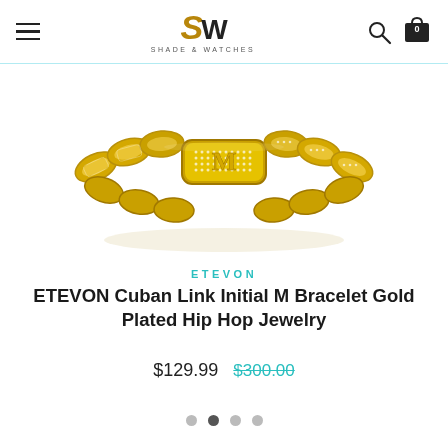SHADE & WATCHES
[Figure (photo): Gold Cuban link bracelet with initial M centerpiece, encrusted with crystals/diamonds]
ETEVON
ETEVON Cuban Link Initial M Bracelet Gold Plated Hip Hop Jewelry
$129.99  $300.00